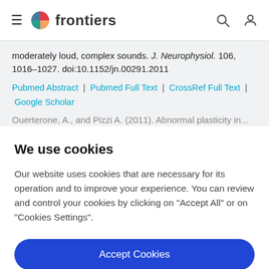frontiers
moderately loud, complex sounds. J. Neurophysiol. 106, 1016–1027. doi:10.1152/jn.00291.2011
Pubmed Abstract | Pubmed Full Text | CrossRef Full Text | Google Scholar
Ouerterone, A., and Pizzi A. (2011). Abnormal plasticity in...
We use cookies
Our website uses cookies that are necessary for its operation and to improve your experience. You can review and control your cookies by clicking on "Accept All" or on "Cookies Settings".
Accept Cookies
Cookies Settings